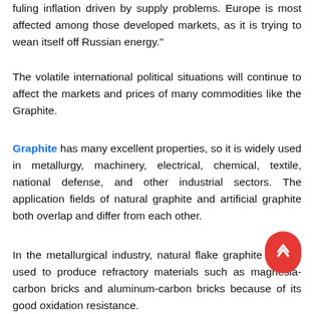fuling inflation driven by supply problems. Europe is most affected among those developed markets, as it is trying to wean itself off Russian energy."
The volatile international political situations will continue to affect the markets and prices of many commodities like the Graphite.
Graphite has many excellent properties, so it is widely used in metallurgy, machinery, electrical, chemical, textile, national defense, and other industrial sectors. The application fields of natural graphite and artificial graphite both overlap and differ from each other.
In the metallurgical industry, natural flake graphite can be used to produce refractory materials such as magnesia-carbon bricks and aluminum-carbon bricks because of its good oxidation resistance.
Artificial graphite can be used as steelmaking electrodes, while electrodes made of natural graphite are difficult to